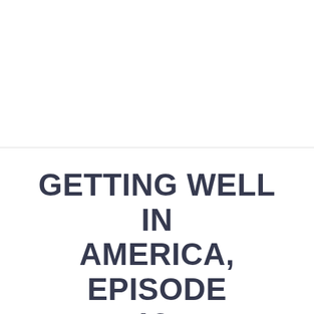[Figure (other): Blank white image area occupying the top portion of the page above a horizontal divider line]
GETTING WELL IN AMERICA, EPISODE 12:
Certainly one of the most interesting of all